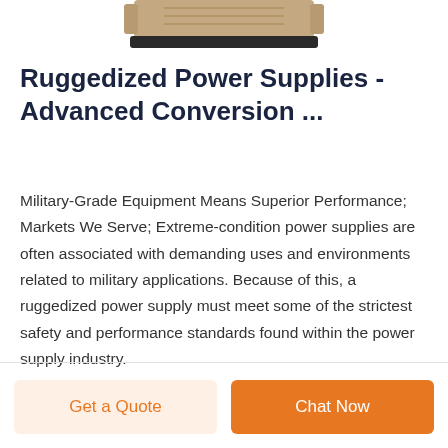[Figure (photo): Partial view of a ruggedized military-grade power supply product, tan/beige colored, shown from above, cropped at top of page.]
Ruggedized Power Supplies - Advanced Conversion ...
Military-Grade Equipment Means Superior Performance; Markets We Serve; Extreme-condition power supplies are often associated with demanding uses and environments related to military applications. Because of this, a ruggedized power supply must meet some of the strictest safety and performance standards found within the power supply industry.